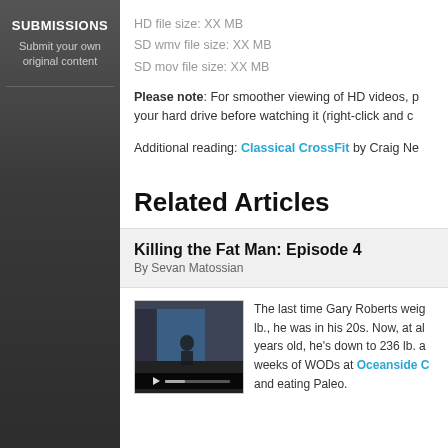SUBMISSIONS
Submit your own original content
HD file size: XX MB
SD wmv file size: XX MB
SD mov file size: XX MB
Please note: For smoother viewing of HD videos, p... your hard drive before watching it (right-click and c...
Additional reading: Classical CrossFit by Craig Ne...
Related Articles
Killing the Fat Man: Episode 4
By Sevan Matossian
[Figure (photo): Thumbnail image of a CrossFit gym with a person working out, blue and dark tones, with a video player overlay bar at the bottom]
The last time Gary Roberts weig... lb., he was in his 20s. Now, at a... years old, he's down to 236 lb. a... weeks of WODs at Oceanside C... and eating Paleo.